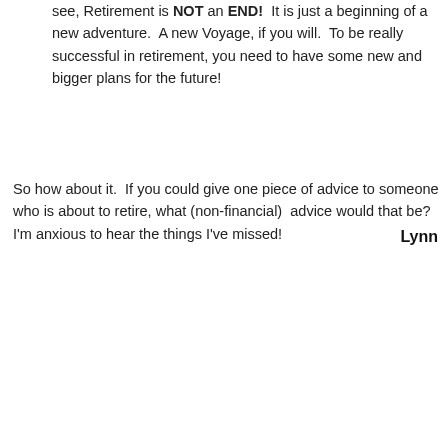see, Retirement is NOT an END!  It is just a beginning of a new adventure.  A new Voyage, if you will.  To be really successful in retirement, you need to have some new and bigger plans for the future!
So how about it.  If you could give one piece of advice to someone who is about to retire, what (non-financial)  advice would that be?  I'm anxious to hear the things I've missed!
Lynn